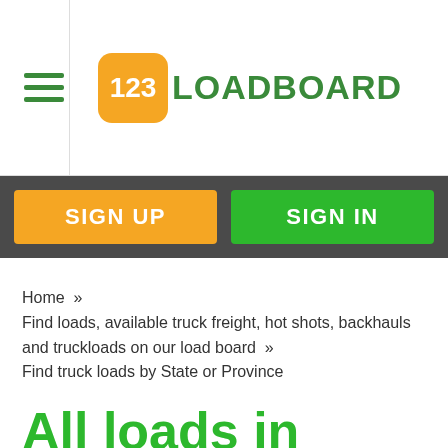[Figure (logo): 123Loadboard logo with orange rounded square containing '123' in white and green 'LOADBOARD' text]
SIGN UP
SIGN IN
Home  »  Find loads, available truck freight, hot shots, backhauls and truckloads on our load board  »  Find truck loads by State or Province
All loads in Morningdale, Massachusetts